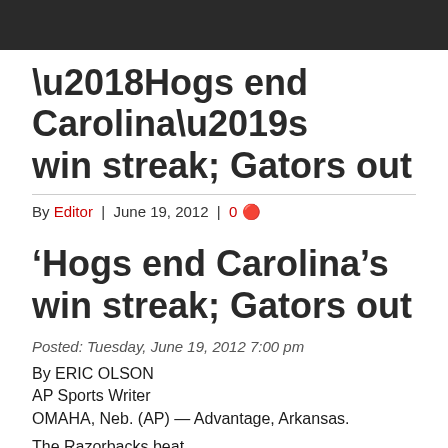‘Hogs end Carolina’s win streak; Gators out
By Editor | June 19, 2012 | 0
‘Hogs end Carolina’s win streak; Gators out
Posted: Tuesday, June 19, 2012 7:00 pm
By ERIC OLSON
AP Sports Writer
OMAHA, Neb. (AP) — Advantage, Arkansas.
The Razorbacks beat...